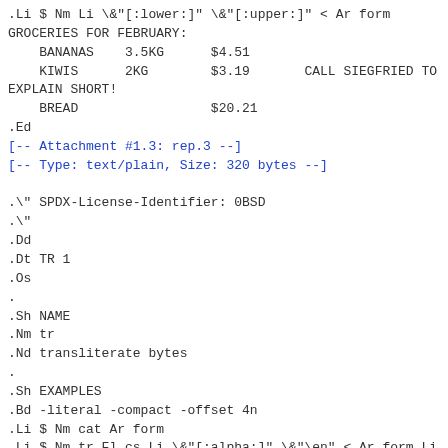.Li $ Nm Li \&"[:lower:]" \&"[:upper:]" < Ar form
GROCERIES FOR FEBRUARY:
    BANANAS    3.5KG      $4.51
    KIWIS      2KG        $3.19       CALL SIEGFRIED TO
EXPLAIN SHORT!
    BREAD                 $20.21
.Ed
[-- Attachment #1.3: rep.3 --]
[-- Type: text/plain, Size: 320 bytes --]
.\" SPDX-License-Identifier: 0BSD
.\"
.Dd
.Dt TR 1
.Os
.
.Sh NAME
.Nm tr
.Nd transliterate bytes
.
.Sh EXAMPLES
.Bd -literal -compact -offset 4n
.Li $ Nm cat Ar form
.Li $ Nm tr Fl cs Li \&"[:alpha:]" \&"\en" < Ar form Li
"    #" Only compatible with the Bx !
.Li $ Nm tr Fl cs Li \&"[:alpha:]" \&"[\en*]" < Ar form
.Ed
[-- Attachment #1.4: rep.2.html --]